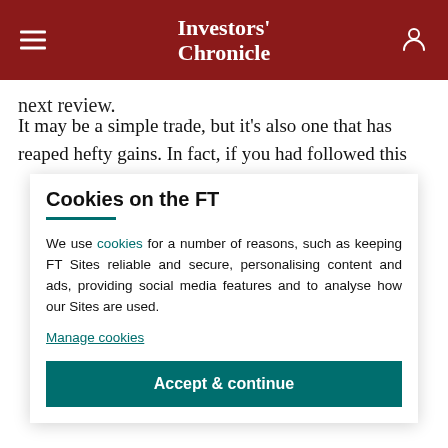Investors' Chronicle
next review.
It may be a simple trade, but it's also one that has reaped hefty gains. In fact, if you had followed this
Cookies on the FT
We use cookies for a number of reasons, such as keeping FT Sites reliable and secure, personalising content and ads, providing social media features and to analyse how our Sites are used.
Manage cookies
Accept & continue